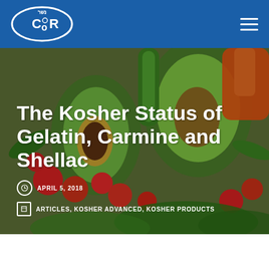[Figure (logo): COR kosher certification logo - white oval with COR text and Hebrew letters]
[Figure (photo): Hero background photo of fresh vegetables including avocado, tomatoes, peppers, cucumber, and leafy greens on wooden surface]
The Kosher Status of Gelatin, Carmine and Shellac
APRIL 5, 2018
ARTICLES, KOSHER ADVANCED, KOSHER PRODUCTS